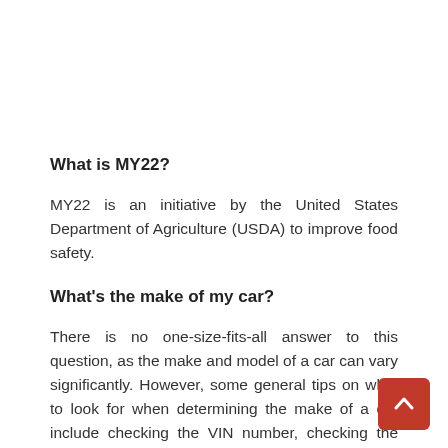What is MY22?
MY22 is an initiative by the United States Department of Agriculture (USDA) to improve food safety.
What's the make of my car?
There is no one-size-fits-all answer to this question, as the make and model of a car can vary significantly. However, some general tips on what to look for when determining the make of a car include checking the VIN number, checking the engine size, and looking for manufacturer or model names on